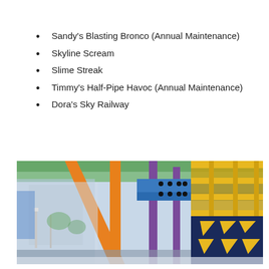Sandy's Blasting Bronco (Annual Maintenance)
Skyline Scream
Slime Streak
Timmy's Half-Pipe Havoc (Annual Maintenance)
Dora's Sky Railway
[Figure (photo): Indoor amusement park with colorful structural beams — orange vertical supports, purple columns, blue and yellow decorative panels with triangle patterns, green roof canopy, viewed from ground level inside a covered entertainment venue]